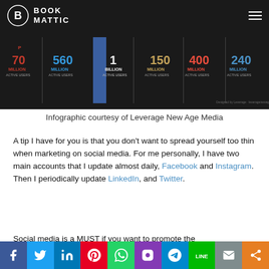BOOK MATTIC
[Figure (infographic): Social media active users infographic showing Pinterest 70 Million, Twitter 560 Million, Facebook 1 Billion, Instagram 150 Million, Google+ 400 Million, LinkedIn 240 Million active users]
Infographic courtesy of Leverage New Age Media
A tip I have for you is that you don't want to spread yourself too thin when marketing on social media. For me personally, I have two main accounts that I update almost daily, Facebook and Instagram. Then I periodically update LinkedIn, and Twitter.
Social media is a MUST if you want to promote the
Share bar with Facebook, Twitter, LinkedIn, Pinterest, WhatsApp, Instagram, Telegram, Line, Email, Share icons